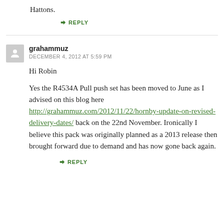Hattons.
↳ REPLY
grahammuz
DECEMBER 4, 2012 AT 5:59 PM
Hi Robin
Yes the R4534A Pull push set has been moved to June as I advised on this blog here http://grahammuz.com/2012/11/22/hornby-update-on-revised-delivery-dates/ back on the 22nd November. Ironically I believe this pack was originally planned as a 2013 release then brought forward due to demand and has now gone back again.
↳ REPLY